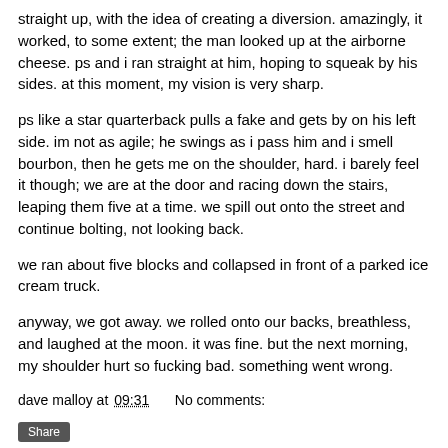straight up, with the idea of creating a diversion. amazingly, it worked, to some extent; the man looked up at the airborne cheese. ps and i ran straight at him, hoping to squeak by his sides. at this moment, my vision is very sharp.
ps like a star quarterback pulls a fake and gets by on his left side. im not as agile; he swings as i pass him and i smell bourbon, then he gets me on the shoulder, hard. i barely feel it though; we are at the door and racing down the stairs, leaping them five at a time. we spill out onto the street and continue bolting, not looking back.
we ran about five blocks and collapsed in front of a parked ice cream truck.
anyway, we got away. we rolled onto our backs, breathless, and laughed at the moon. it was fine. but the next morning, my shoulder hurt so fucking bad. something went wrong.
dave malloy at 09:31    No comments: